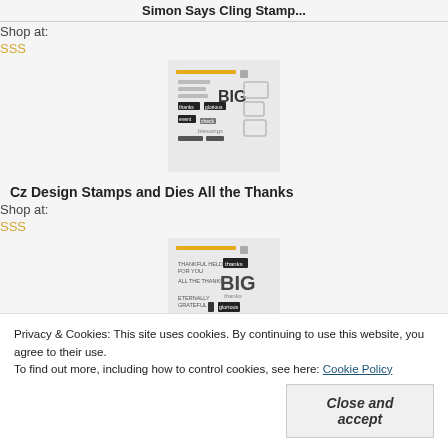Simon Says Cling Stamp...
Shop at:
SSS
[Figure (photo): Product image of Simon Says Cling Stamp set with various sentiment stamps and die cuts]
Cz Design Stamps and Dies All the Thanks
Shop at:
SSS
[Figure (photo): Product image of Cz Design Stamps and Dies All the Thanks stamp set]
Privacy & Cookies: This site uses cookies. By continuing to use this website, you agree to their use.
To find out more, including how to control cookies, see here: Cookie Policy
Close and accept